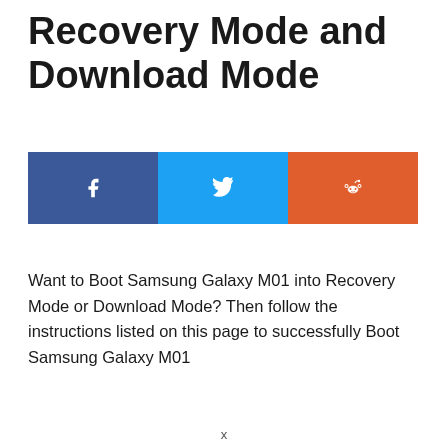Recovery Mode and Download Mode
[Figure (infographic): Social share buttons: Facebook (blue), Twitter (light blue), Reddit (orange) with respective icons]
Want to Boot Samsung Galaxy M01 into Recovery Mode or Download Mode? Then follow the instructions listed on this page to successfully Boot Samsung Galaxy M01